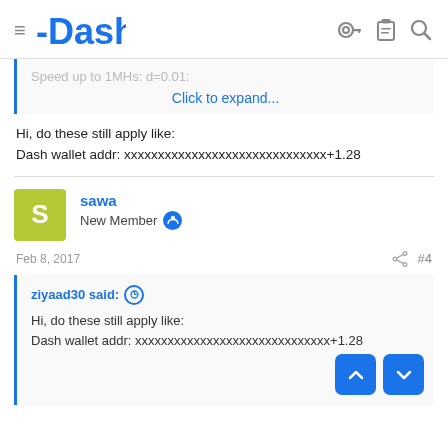Dash
Speed up to 1MHs: d=0.01:
Click to expand...
Hi, do these still apply like:
Dash wallet addr: xxxxxxxxxxxxxxxxxxxxxxxxxxxxxx+1.28
sawa
New Member
Feb 8, 2017
#4
ziyaad30 said:
Hi, do these still apply like:
Dash wallet addr: xxxxxxxxxxxxxxxxxxxxxxxxxxxxxx+1.28